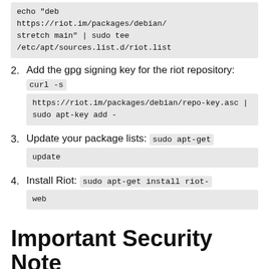echo "deb https://riot.im/packages/debian/ stretch main" | sudo tee /etc/apt/sources.list.d/riot.list
2. Add the gpg signing key for the riot repository: curl -s https://riot.im/packages/debian/repo-key.asc | sudo apt-key add -
3. Update your package lists: sudo apt-get update
4. Install Riot: sudo apt-get install riot-web
Important Security Note